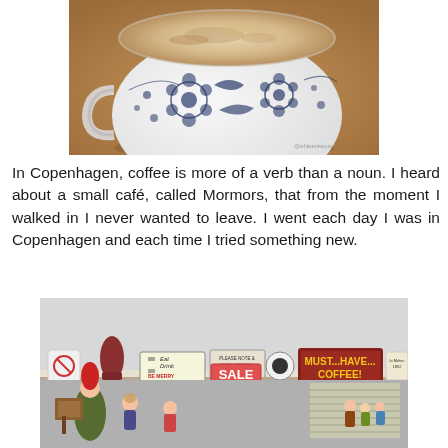[Figure (photo): Close-up photo of a white ceramic coffee cup with blue floral pattern, filled with a frothy cappuccino or latte, sitting on a wooden table surface. Watermark text visible in lower right corner reading '@ahleenkeyas' or similar.]
In Copenhagen, coffee is more of a verb than a noun. I heard about a small café, called Mormors, that from the moment I walked in I never wanted to leave. I went each day I was in Copenhagen and each time I tried something new.
[Figure (photo): Interior photo of a café (Mormors) showing a shelf along the wall with various vintage decorative signs including 'NO MOBILES', a red boot figurine, 'Eat Drink BE MERRY', 'SALE', 'MUST...HAVE... COFFEE!' in large letters on a rustic red sign, and other vintage signs. Below the shelf are various small figurines and decorative items including gnomes and dolls.]